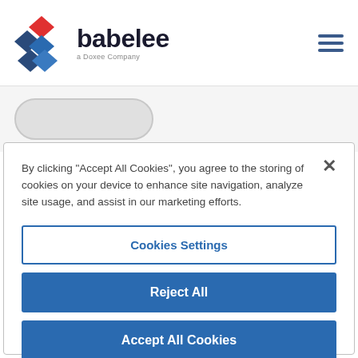[Figure (logo): Babelee logo with stacked diamond shapes in blue and red, text 'babelee' in dark bold font, subtitle 'a Doxee Company']
[Figure (screenshot): Hamburger menu icon with three horizontal dark blue lines on right side of header]
[Figure (screenshot): Rounded pill/button placeholder shape in light gray]
By clicking "Accept All Cookies", you agree to the storing of cookies on your device to enhance site navigation, analyze site usage, and assist in our marketing efforts.
Cookies Settings
Reject All
Accept All Cookies